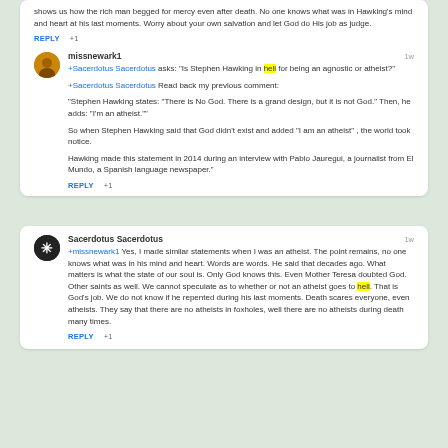shows us how the rich man begged for mercy even after death. No one knows what was in Hawking's mind and heart at his last moments. Worry about your own salvation and let God do His job as judge.
REPLY +1
missnewark1
+Sacerdotus Sacerdotus asks: 'Is Stephen Hawking in hell for being an agnostic or atheist?'
+Sacerdotus Sacerdotus Read back my previous comment:
"Stephen Hawking states: 'There is No God. There is a grand design, but it is not God.' Then, he adds: 'I'm an atheist.'"
So when Stephen Hawking said that God didn't exist and added 'I am an atheist', the world took notice.
Hawking made this statement in 2014 during an interview with Pablo Jauregui, a journalist from El Mundo, a Spanish language newspaper.
REPLY +1
Sacerdotus Sacerdotus
+missnewark1 Yes, I made similar statements when I was an atheist. The point remains, no one knows what was in his mind and heart. Words are words. He said that decades ago. What matters is what the state of our soul is. Only God knows this. Even Mother Teresa doubted God. Other saints as well. We cannot speculate as to whether or not an atheist goes to hell. That is God's job. We do not know if he repented during his last moments. Death scares everyone, even atheists. They say that there are no atheists in foxholes, well there are no atheists during death many times.
REPLY +1